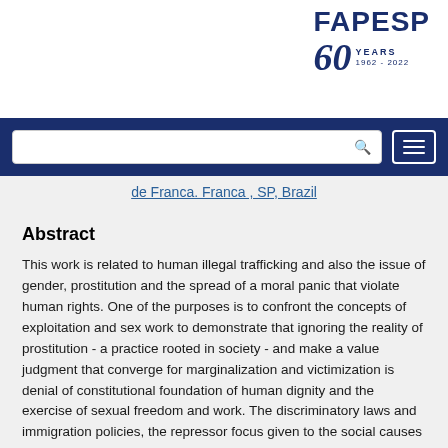[Figure (logo): FAPESP 60 Years 1962-2022 logo in dark blue]
[Figure (screenshot): Navigation bar with search box and hamburger menu button on dark blue background]
de Franca. Franca , SP, Brazil
Abstract
This work is related to human illegal trafficking and also the issue of gender, prostitution and the spread of a moral panic that violate human rights. One of the purposes is to confront the concepts of exploitation and sex work to demonstrate that ignoring the reality of prostitution - a practice rooted in society - and make a value judgment that converge for marginalization and victimization is denial of constitutional foundation of human dignity and the exercise of sexual freedom and work. The discriminatory laws and immigration policies, the repressor focus given to the social causes explains the success of human illegal trafficking and the constant violation of human rights. To discuss these issues is necessary a dialogue with their historical and philosophical assumptions. The different conceptions of the prostitute in laws demonstrate a